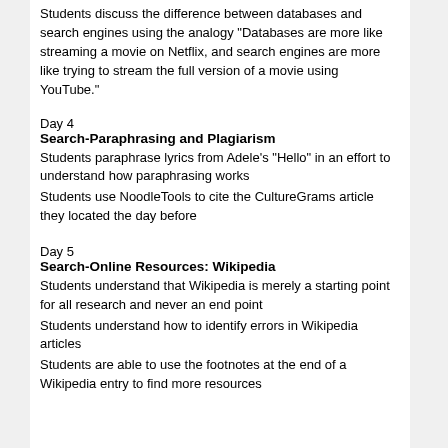Students discuss the difference between databases and search engines using the analogy “Databases are more like streaming a movie on Netflix, and search engines are more like trying to stream the full version of a movie using YouTube.”
Day 4
Search-Paraphrasing and Plagiarism
Students paraphrase lyrics from Adele’s “Hello” in an effort to understand how paraphrasing works
Students use NoodleTools to cite the CultureGrams article they located the day before
Day 5
Search-Online Resources: Wikipedia
Students understand that Wikipedia is merely a starting point for all research and never an end point
Students understand how to identify errors in Wikipedia articles
Students are able to use the footnotes at the end of a Wikipedia entry to find more resources